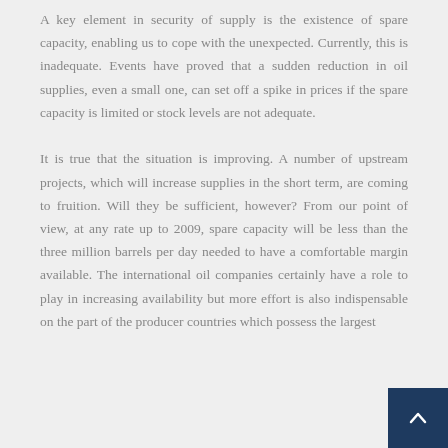A key element in security of supply is the existence of spare capacity, enabling us to cope with the unexpected. Currently, this is inadequate. Events have proved that a sudden reduction in oil supplies, even a small one, can set off a spike in prices if the spare capacity is limited or stock levels are not adequate.

It is true that the situation is improving. A number of upstream projects, which will increase supplies in the short term, are coming to fruition. Will they be sufficient, however? From our point of view, at any rate up to 2009, spare capacity will be less than the three million barrels per day needed to have a comfortable margin available. The international oil companies certainly have a role to play in increasing availability but more effort is also indispensable on the part of the producer countries which possess the largest